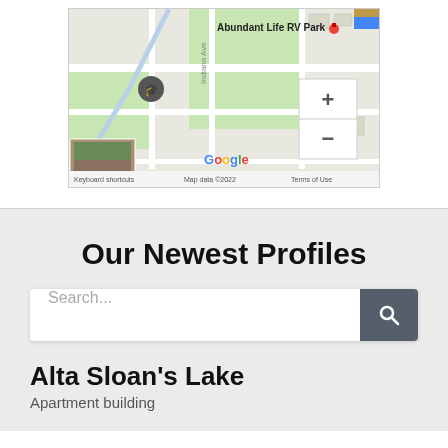[Figure (map): Google Maps screenshot showing Abundant Life RV Park location with map controls (+ and -), street view thumbnail, Google logo, and footer text: Keyboard shortcuts, Map data ©2022, Terms of Use]
Our Newest Profiles
Search...
Alta Sloan's Lake
Apartment building